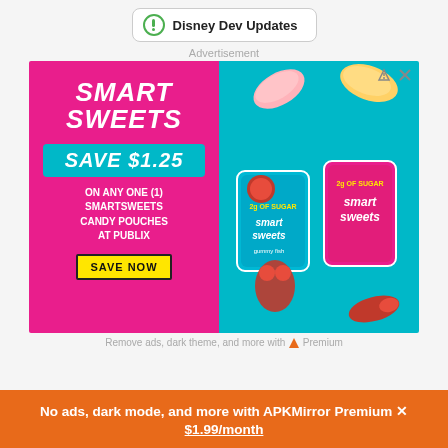Disney Dev Updates
Advertisement
[Figure (illustration): SmartSweets candy advertisement. Left half: hot pink background with SmartSweets logo, 'SAVE $1.25' teal badge, text 'ON ANY ONE (1) SMARTSWEETS CANDY POUCHES AT PUBLIX', yellow 'SAVE NOW' button. Right half: teal/cyan background with candy product bags (SmartSweets Gummy Bears and pink package) and candy pieces (sour peach rings, gummy fish) floating.]
Remove ads, dark theme, and more with ▲ Premium
No ads, dark mode, and more with APKMirror Premium ✕ $1.99/month